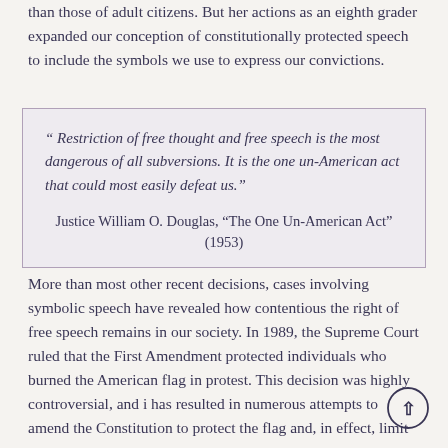than those of adult citizens. But her actions as an eighth grader expanded our conception of constitutionally protected speech to include the symbols we use to express our convictions.
" Restriction of free thought and free speech is the most dangerous of all subversions. It is the one un-American act that could most easily defeat us."

Justice William O. Douglas, "The One Un-American Act" (1953)
More than most other recent decisions, cases involving symbolic speech have revealed how contentious the right of free speech remains in our society. In 1989, the Supreme Court ruled that the First Amendment protected individuals who burned the American flag in protest. This decision was highly controversial, and it has resulted in numerous attempts to amend the Constitution to protect the flag and, in effect, limit